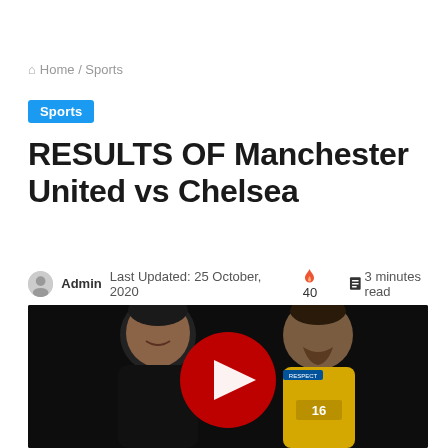Home / Sports
Sports
RESULTS OF Manchester United vs Chelsea
Admin   Last Updated: 25 October, 2020   🔥 40   📖 3 minutes read
[Figure (photo): Two football players side by side with a YouTube play button overlay in the center. Left player is smiling in dark kit, right player is in yellow kit. Background is dark.]